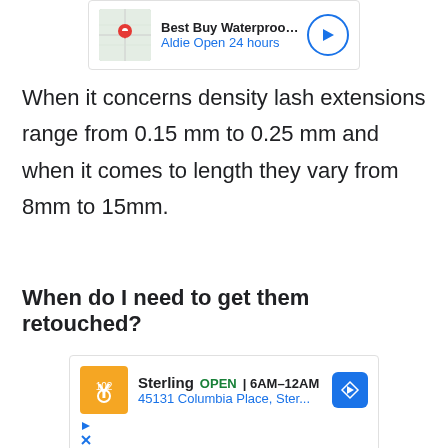[Figure (screenshot): Google Maps advertisement card for Best Buy Waterproofin... showing location pin map thumbnail, business name, 'Aldie Open 24 hours', and blue circular navigation arrow button]
When it concerns density lash extensions range from 0.15 mm to 0.25 mm and when it comes to length they vary from 8mm to 15mm.
When do I need to get them retouched?
[Figure (screenshot): Google Maps advertisement card for Sterling showing orange logo, OPEN 6AM-12AM, 45131 Columbia Place, Ster..., blue diamond navigation button, and ad controls (play and close icons)]